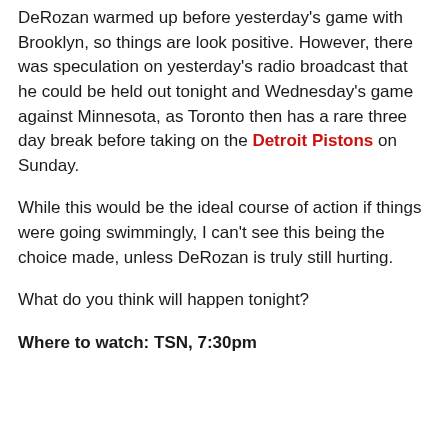DeRozan warmed up before yesterday's game with Brooklyn, so things are look positive. However, there was speculation on yesterday's radio broadcast that he could be held out tonight and Wednesday's game against Minnesota, as Toronto then has a rare three day break before taking on the Detroit Pistons on Sunday.
While this would be the ideal course of action if things were going swimmingly, I can't see this being the choice made, unless DeRozan is truly still hurting.
What do you think will happen tonight?
Where to watch: TSN, 7:30pm